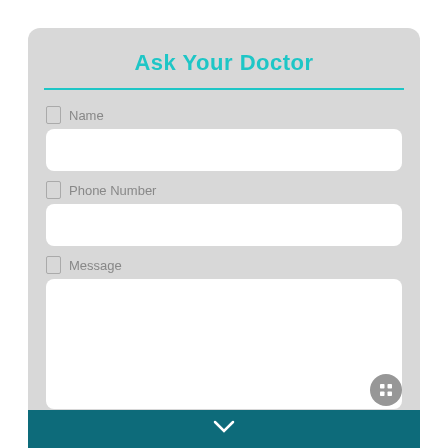Ask Your Doctor
Name
Phone Number
Message